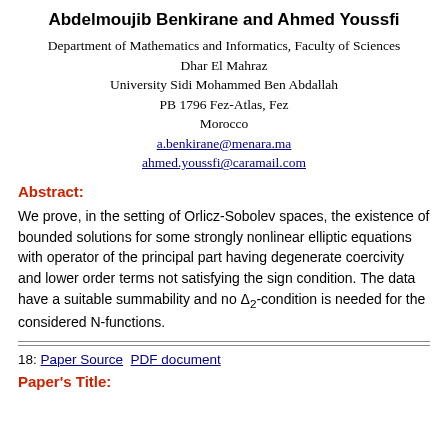Abdelmoujib Benkirane and Ahmed Youssfi
Department of Mathematics and Informatics, Faculty of Sciences
Dhar El Mahraz
University Sidi Mohammed Ben Abdallah
PB 1796 Fez-Atlas, Fez
Morocco
a.benkirane@menara.ma
ahmed.youssfi@caramail.com
Abstract:
We prove, in the setting of Orlicz-Sobolev spaces, the existence of bounded solutions for some strongly nonlinear elliptic equations with operator of the principal part having degenerate coercivity and lower order terms not satisfying the sign condition. The data have a suitable summability and no Δ₂-condition is needed for the considered N-functions.
18: Paper Source  PDF document
Paper's Title: